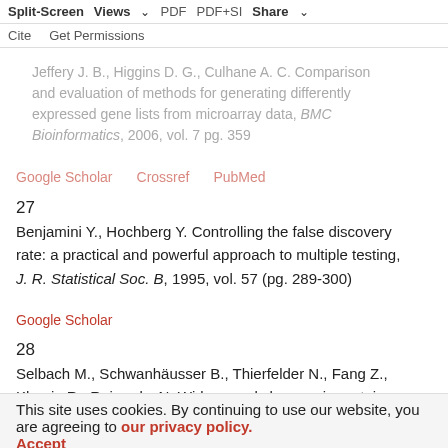Jeffery J. B., Higgins D. G., Culhane A. C. Comparison and evaluation of methods for generating differentially expressed gene lists from microarray data, BMC Bioinformatics, 2006, vol. 7 pg. 359
Google Scholar   Crossref   PubMed
27
Benjamini Y., Hochberg Y. Controlling the false discovery rate: a practical and powerful approach to multiple testing, J. R. Statistical Soc. B, 1995, vol. 57 (pg. 289-300)
Google Scholar
28
Selbach M., Schwanhäusser B., Thierfelder N., Fang Z., Khanin R., Rajewsky N. Widespread changes in protein synthesis induced by microRNAs, Nature, 2008, vol. 455 (pg. 58-63)
This site uses cookies. By continuing to use our website, you are agreeing to our privacy policy.
Accept
Google Scholar   Crossref   PubMed
29